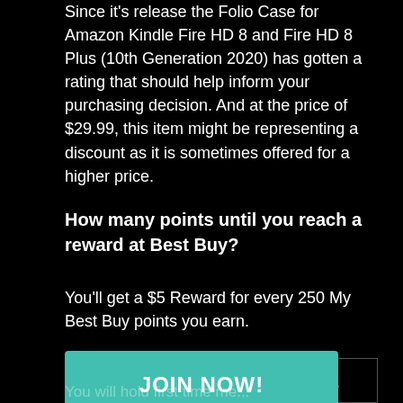Since it's release the Folio Case for Amazon Kindle Fire HD 8 and Fire HD 8 Plus (10th Generation 2020) has gotten a rating that should help inform your purchasing decision. And at the price of $29.99, this item might be representing a discount as it is sometimes offered for a higher price.
How many points until you reach a reward at Best Buy?
You'll get a $5 Reward for every 250 My Best Buy points you earn.
How do My Best Buy status levels work when purchasing the Folio Case for Amazon Kindle Fire HD 8 and Fire HD 8 Plus (10th Generation 2020) a Case?
[Figure (other): Teal/green JOIN NOW! button overlay]
You will hold first time member purchasing...